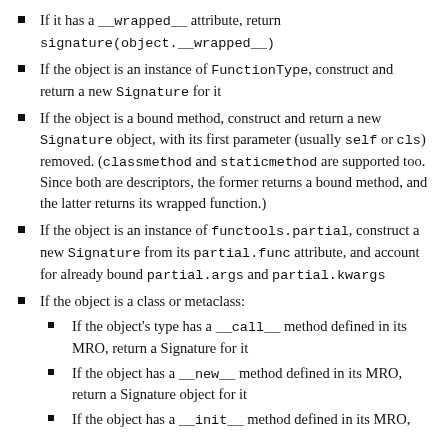If it has a __wrapped__ attribute, return signature(object.__wrapped__)
If the object is an instance of FunctionType, construct and return a new Signature for it
If the object is a bound method, construct and return a new Signature object, with its first parameter (usually self or cls) removed. (classmethod and staticmethod are supported too. Since both are descriptors, the former returns a bound method, and the latter returns its wrapped function.)
If the object is an instance of functools.partial, construct a new Signature from its partial.func attribute, and account for already bound partial.args and partial.kwargs
If the object is a class or metaclass:
If the object's type has a __call__ method defined in its MRO, return a Signature for it
If the object has a __new__ method defined in its MRO, return a Signature object for it
If the object has a __init__ method defined in its MRO,